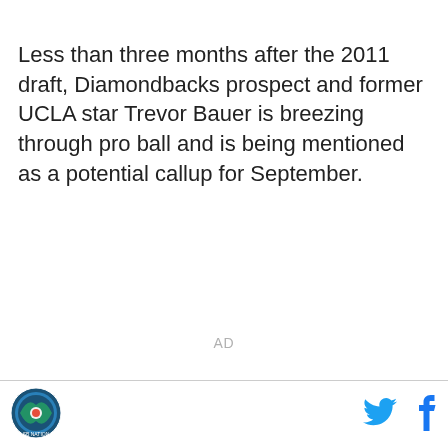Less than three months after the 2011 draft, Diamondbacks prospect and former UCLA star Trevor Bauer is breezing through pro ball and is being mentioned as a potential callup for September.
AD
[Figure (logo): Sports league circular logo with blue and green colors]
[Figure (other): Twitter bird icon in cyan blue]
[Figure (other): Facebook f icon in dark blue]